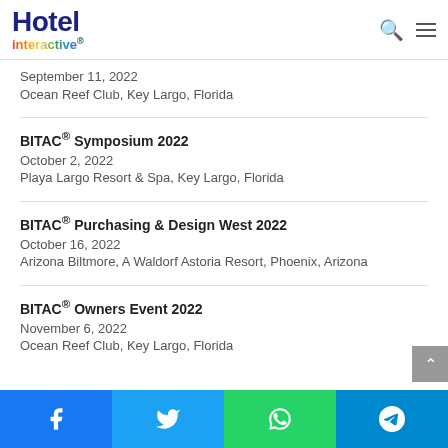Hotel interactive
September 11, 2022
Ocean Reef Club, Key Largo, Florida
BITAC® Symposium 2022
October 2, 2022
Playa Largo Resort & Spa, Key Largo, Florida
BITAC® Purchasing & Design West 2022
October 16, 2022
Arizona Biltmore, A Waldorf Astoria Resort, Phoenix, Arizona
BITAC® Owners Event 2022
November 6, 2022
Ocean Reef Club, Key Largo, Florida